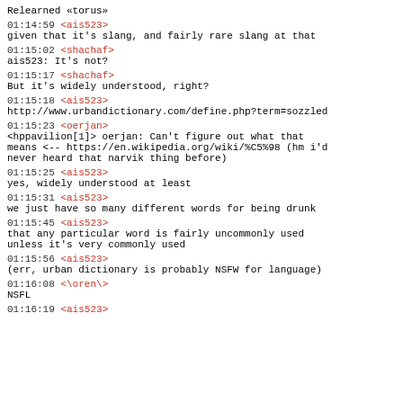Relearned «torus»
01:14:59 <ais523>
given that it's slang, and fairly rare slang at that
01:15:02 <shachaf>
ais523: It's not?
01:15:17 <shachaf>
But it's widely understood, right?
01:15:18 <ais523>
http://www.urbandictionary.com/define.php?term=sozzled
01:15:23 <oerjan>
<hppavilion[1]> oerjan: Can't figure out what that means <-- https://en.wikipedia.org/wiki/%C5%98 (hm i'd never heard that narvik thing before)
01:15:25 <ais523>
yes, widely understood at least
01:15:31 <ais523>
we just have so many different words for being drunk
01:15:45 <ais523>
that any particular word is fairly uncommonly used unless it's very commonly used
01:15:56 <ais523>
(err, urban dictionary is probably NSFW for language)
01:16:08 <\oren\>
NSFL
01:16:19 <ais523>